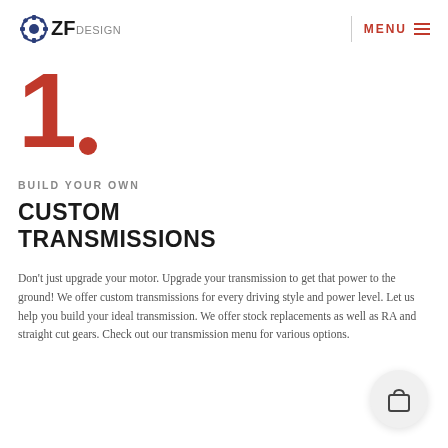ZFdesign | MENU
1.
BUILD YOUR OWN
CUSTOM TRANSMISSIONS
Don't just upgrade your motor. Upgrade your transmission to get that power to the ground! We offer custom transmissions for every driving style and power level. Let us help you build your ideal transmission. We offer stock replacements as well as RA and straight cut gears. Check out our transmission menu for various options.